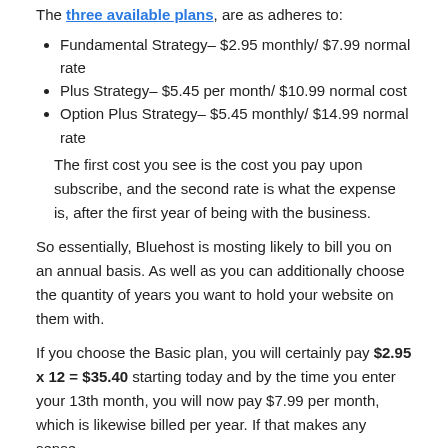The three available plans, are as adheres to:
Fundamental Strategy– $2.95 monthly/ $7.99 normal rate
Plus Strategy– $5.45 per month/ $10.99 normal cost
Option Plus Strategy– $5.45 monthly/ $14.99 normal rate
The first cost you see is the cost you pay upon subscribe, and the second rate is what the expense is, after the first year of being with the business.
So essentially, Bluehost is mosting likely to bill you on an annual basis. As well as you can additionally choose the quantity of years you want to hold your website on them with.
If you choose the Basic plan, you will certainly pay $2.95 x 12 = $35.40 starting today and by the time you enter your 13th month, you will now pay $7.99 per month, which is likewise billed per year. If that makes any sense.